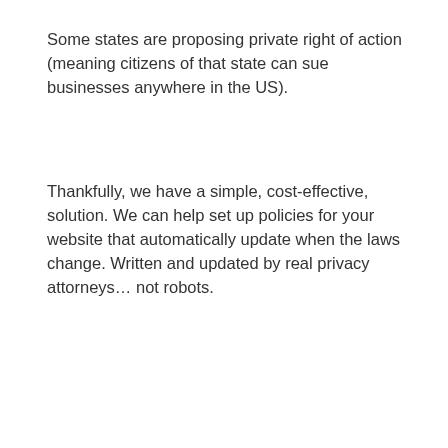Some states are proposing private right of action (meaning citizens of that state can sue businesses anywhere in the US).
Thankfully, we have a simple, cost-effective, solution. We can help set up policies for your website that automatically update when the laws change. Written and updated by real privacy attorneys... not robots.